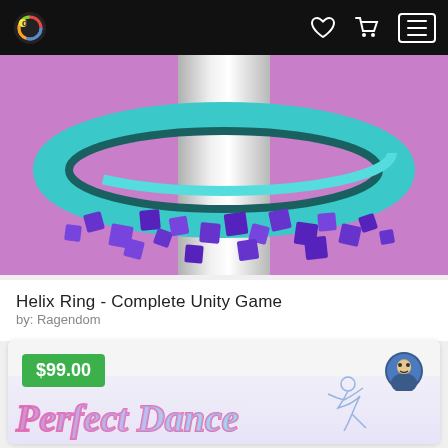d [heart icon] [cart icon] [menu icon]
[Figure (screenshot): Helix Ring game screenshot showing a teal/cyan ring above a white cylinder surrounded by scattered purple cubes on a pink/purple background]
Helix Ring - Complete Unity Game
by: Ragendom
[Figure (screenshot): Second product card showing $99.00 green price badge, seller avatar icon, and partial Perfect Dance game logo text in pink/blue gradient cursive lettering on light background]